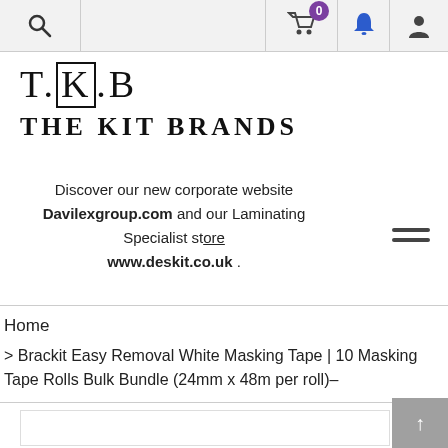Navigation bar with search icon, cart (0), bell notification, and user account icons
[Figure (logo): T.K.B THE KIT BRANDS logo in serif font]
Discover our new corporate website Davilexgroup.com and our Laminating Specialist store www.deskit.co.uk .
Home
> Brackit Easy Removal White Masking Tape | 10 Masking Tape Rolls Bulk Bundle (24mm x 48m per roll)–